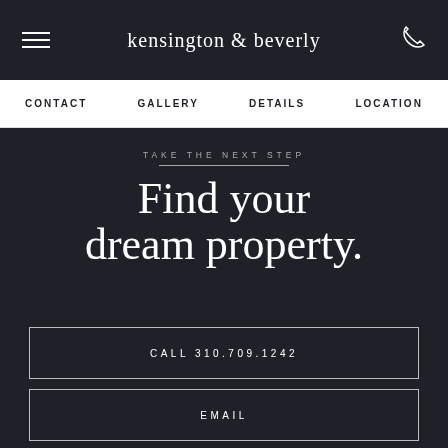kensington & beverly
CONTACT   GALLERY   DETAILS   LOCATION
TAKE THE NEXT STEP
Find your dream property.
CALL 310.709.1242
EMAIL
CONTACT US